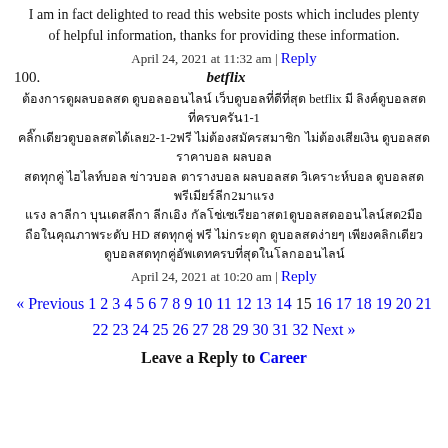I am in fact delighted to read this website posts which includes plenty of helpful information, thanks for providing these information.
April 24, 2021 at 11:32 am | Reply
100.
betflix
Thai language content about betflix 1-1 2-1-2 2 1 2
April 24, 2021 at 10:20 am | Reply
« Previous 1 2 3 4 5 6 7 8 9 10 11 12 13 14 15 16 17 18 19 20 21 22 23 24 25 26 27 28 29 30 31 32 Next »
Leave a Reply to Career